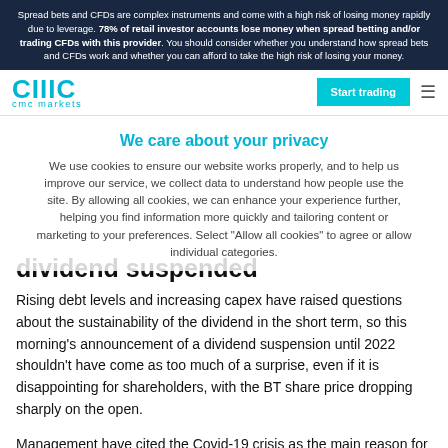Spread bets and CFDs are complex instruments and come with a high risk of losing money rapidly due to leverage. 78% of retail investor accounts lose money when spread betting and/or trading CFDs with this provider. You should consider whether you understand how spread bets and CFDs work and whether you can afford to take the high risk of losing your money.
[Figure (logo): CMC Markets logo with teal text]
We care about your privacy
We use cookies to ensure our website works properly, and to help us improve our service, we collect data to understand how people use the site. By allowing all cookies, we can enhance your experience further, helping you find information more quickly and tailoring content or marketing to your preferences. Select "Allow all cookies" to agree or allow individual categories.
dividend suspended
Rising debt levels and increasing capex have raised questions about the sustainability of the dividend in the short term, so this morning's announcement of a dividend suspension until 2022 shouldn't have come as too much of a surprise, even if it is disappointing for shareholders, with the BT share price dropping sharply on the open.
Management have cited the Covid-19 crisis as the main reason for the suspension, as the company strives to